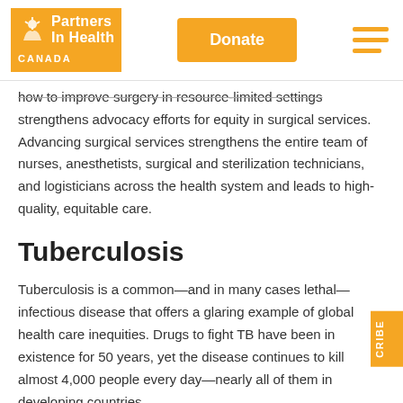[Figure (logo): Partners In Health Canada logo with orange background and white text, alongside Donate button and hamburger menu]
how to improve surgery in resource-limited settings strengthens advocacy efforts for equity in surgical services. Advancing surgical services strengthens the entire team of nurses, anesthetists, surgical and sterilization technicians, and logisticians across the health system and leads to high-quality, equitable care.
Tuberculosis
Tuberculosis is a common—and in many cases lethal—infectious disease that offers a glaring example of global health care inequities. Drugs to fight TB have been in existence for 50 years, yet the disease continues to kill almost 4,000 people every day—nearly all of them in developing countries.
For more than two decades, PIH has treated thousands